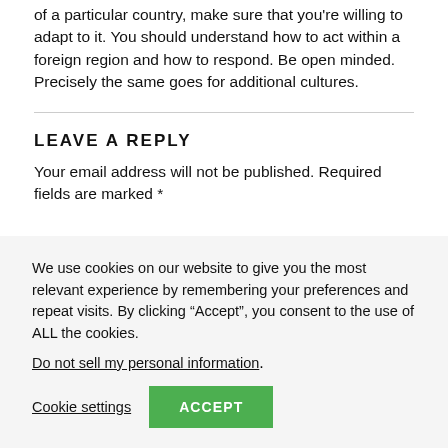of a particular country, make sure that you're willing to adapt to it. You should understand how to act within a foreign region and how to respond. Be open minded. Precisely the same goes for additional cultures.
LEAVE A REPLY
Your email address will not be published. Required fields are marked *
We use cookies on our website to give you the most relevant experience by remembering your preferences and repeat visits. By clicking “Accept”, you consent to the use of ALL the cookies.
Do not sell my personal information.
Cookie settings
ACCEPT